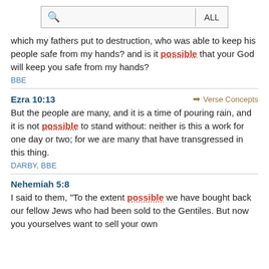[Figure (screenshot): Search bar with magnifying glass icon and 'ALL' button]
which my fathers put to destruction, who was able to keep his people safe from my hands? and is it possible that your God will keep you safe from my hands?
BBE
Ezra 10:13
Verse Concepts
But the people are many, and it is a time of pouring rain, and it is not possible to stand without: neither is this a work for one day or two; for we are many that have transgressed in this thing.
DARBY, BBE
Nehemiah 5:8
I said to them, "To the extent possible we have bought back our fellow Jews who had been sold to the Gentiles. But now you yourselves want to sell your own